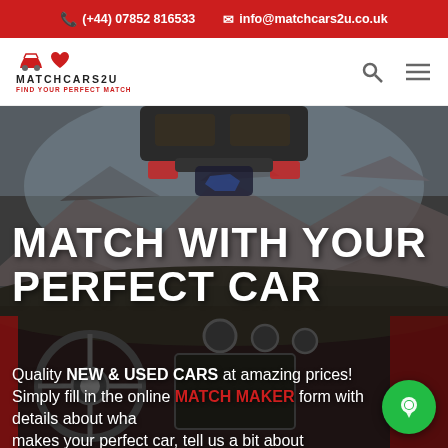(+44) 07852 816533   info@matchcars2u.co.uk
[Figure (logo): MatchCars2U logo with red car and heart icons, tagline FIND YOUR PERFECT MATCH]
[Figure (photo): Car interior hero image showing dashboard, steering wheel, rearview mirror with mountain landscape background]
MATCH WITH YOUR PERFECT CAR
Quality NEW & USED CARS at amazing prices! Simply fill in the online MATCH MAKER form with details about what makes your perfect car, tell us a bit about